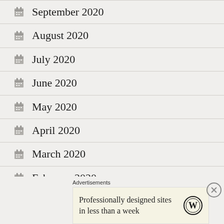September 2020
August 2020
July 2020
June 2020
May 2020
April 2020
March 2020
February 2020
Advertisements
Professionally designed sites in less than a week